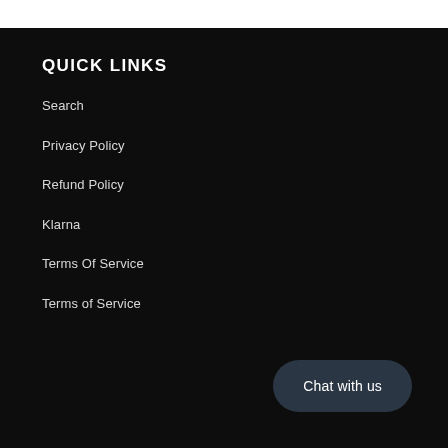QUICK LINKS
Search
Privacy Policy
Refund Policy
Klarna
Terms Of Service
Terms of Service
Chat with us